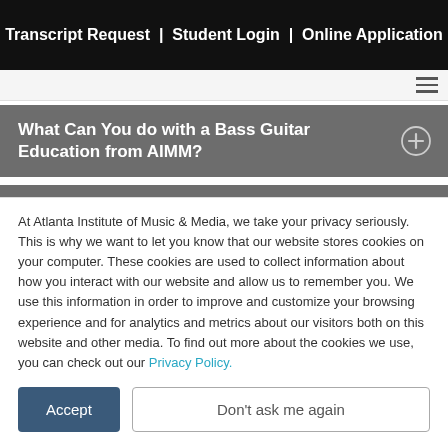Transcript Request  |  Student Login  |  Online Application
What Can You do with a Bass Guitar Education from AIMM?
Where is AIMM's Campus Located?
At Atlanta Institute of Music & Media, we take your privacy seriously. This is why we want to let you know that our website stores cookies on your computer. These cookies are used to collect information about how you interact with our website and allow us to remember you. We use this information in order to improve and customize your browsing experience and for analytics and metrics about our visitors both on this website and other media. To find out more about the cookies we use, you can check out our Privacy Policy.